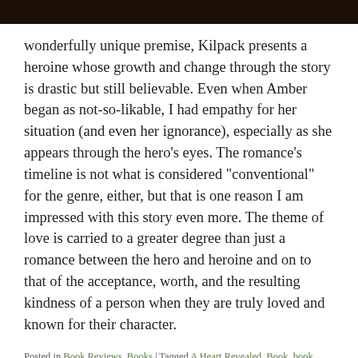[Figure (photo): Dark cropped image at top of page, showing a partial photo with dark brown tones]
wonderfully unique premise, Kilpack presents a heroine whose growth and change through the story is drastic but still believable. Even when Amber began as not-so-likable, I had empathy for her situation (and even her ignorance), especially as she appears through the hero’s eyes. The romance’s timeline is not what is considered “conventional” for the genre, either, but that is one reason I am impressed with this story even more. The theme of love is carried to a greater degree than just a romance between the hero and heroine and on to that of the acceptance, worth, and the resulting kindness of a person when they are truly loved and known for their character.
Posted in Book Reviews, Books | Tagged A Heart Revealed, Book, book review, books, fiction, Historical Fiction, Historical Romance, Josi S. Kilpack, Mini Review, read, Reading, Regency Era, US history | 3 Comments
Search